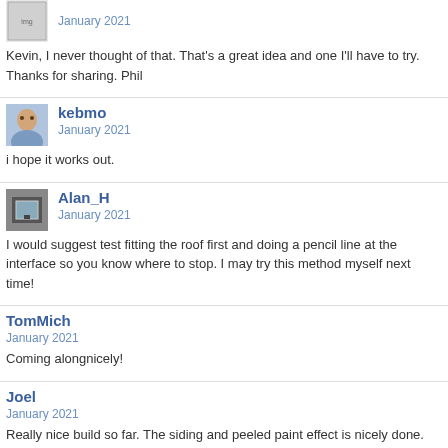[Figure (photo): Small avatar image, appears to be a logo or badge]
January 2021
Kevin, I never thought of that. That's a great idea and one I'll have to try. Thanks for sharing. Phil
[Figure (photo): Avatar photo of kebmo, an older person]
kebmo
January 2021
i hope it works out.
[Figure (photo): Avatar photo of Alan_H, showing a window or door]
Alan_H
January 2021
I would suggest test fitting the roof first and doing a pencil line at the interface so you know where to stop. I may try this method myself next time!
TomMich
January 2021
Coming alongnicely!
Joel
January 2021
Really nice build so far. The siding and peeled paint effect is nicely done.